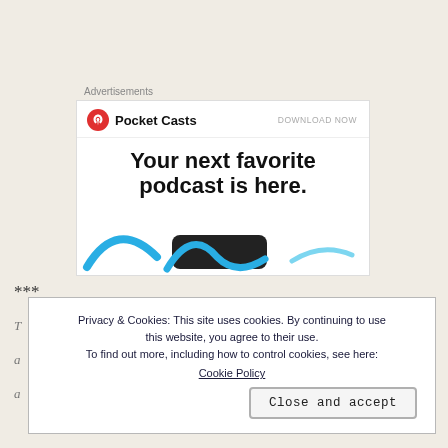Advertisements
[Figure (screenshot): Pocket Casts advertisement banner with logo, 'DOWNLOAD NOW' button, and headline 'Your next favorite podcast is here.' with decorative podcast-related graphics at the bottom]
***
Privacy & Cookies: This site uses cookies. By continuing to use this website, you agree to their use.
To find out more, including how to control cookies, see here:
Cookie Policy
Close and accept